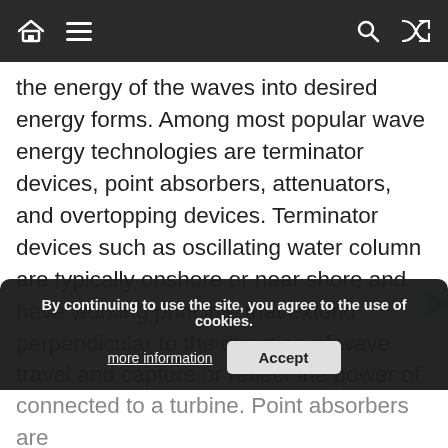Navigation bar with home, menu, search, and shuffle icons
the energy of the waves into desired energy forms. Among most popular wave energy technologies are terminator devices, point absorbers, attenuators, and overtopping devices. Terminator devices such as oscillating water column are typically onshore or near shore and have working principle that extend perpendicular to the direction of wave travel and capture or reflect the power of the wave and then the captured water column moves up and down like a piston, forcing the air through an opening connected to a turbine. Point absorbers are different types of wave energy and it involves floating structures with components that move relative to each other because of wave action and energy gets produced as this movement drives
By continuing to use the site, you agree to the use of cookies. more information  Accept